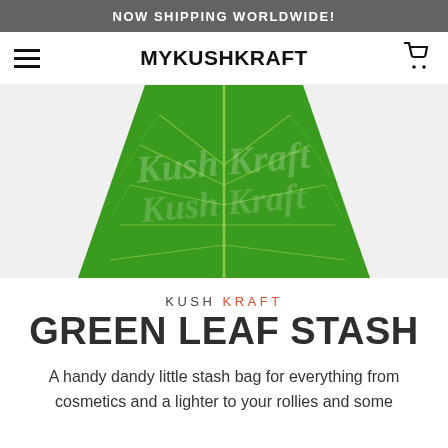NOW SHIPPING WORLDWIDE!
MYKUSHKRAFT
[Figure (photo): Close-up of a green leaf-patterned stash bag with cursive 'Kush Kraft' text and leaf vein details on the surface, trapezoidal shape viewed from above.]
KUSH KRAFT
GREEN LEAF STASH
A handy dandy little stash bag for everything from cosmetics and a lighter to your rollies and some